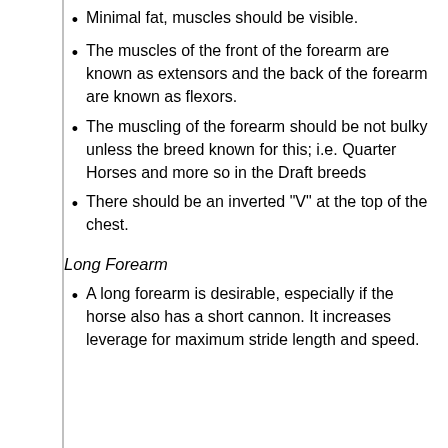Minimal fat, muscles should be visible.
The muscles of the front of the forearm are known as extensors and the back of the forearm are known as flexors.
The muscling of the forearm should be not bulky unless the breed known for this; i.e. Quarter Horses and more so in the Draft breeds
There should be an inverted "V" at the top of the chest.
Long Forearm
A long forearm is desirable, especially if the horse also has a short cannon. It increases leverage for maximum stride length and speed.